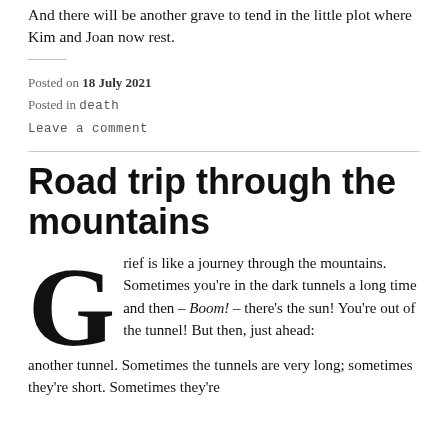And there will be another grave to tend in the little plot where Kim and Joan now rest.
Posted on 18 July 2021
Posted in death
Leave a comment
Road trip through the mountains
Grief is like a journey through the mountains. Sometimes you're in the dark tunnels a long time and then – Boom! – there's the sun! You're out of the tunnel! But then, just ahead: another tunnel. Sometimes the tunnels are very long; sometimes they're short. Sometimes they're